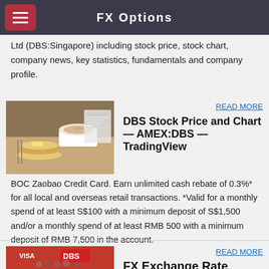FX Options
Ltd (DBS:Singapore) including stock price, stock chart, company news, key statistics, fundamentals and company profile.
READ MORE
DBS Stock Price and Chart — AMEX:DBS — TradingView
BOC Zaobao Credit Card. Earn unlimited cash rebate of 0.3%* for all local and overseas retail transactions. *Valid for a monthly spend of at least S$100 with a minimum deposit of S$1,500 and/or a monthly spend of at least RMB 500 with a minimum deposit of RMB 7,500 in the account.
READ MORE
FX Exchange Rate
TRADING ECONOMICS provides forecasts for major currency exchange